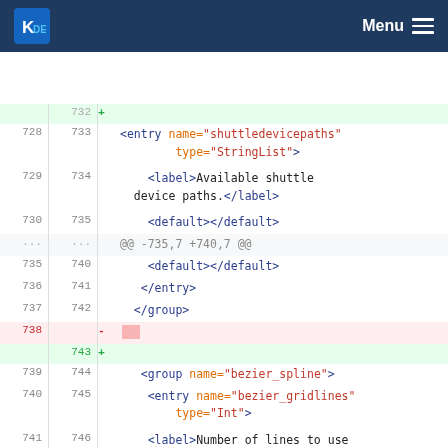KDE Menu
[Figure (screenshot): Code diff view showing XML configuration file changes. Lines 728-741 with old and new line numbers. Shows entry elements for shuttledevicepaths and bezier_spline group with bezier_gridlines entry. Line 738 is deleted (red), line 743 is added (green). Hunk headers show @@ -735,7 +740,7 @@ and @@ -798,7 +803,7 @@]